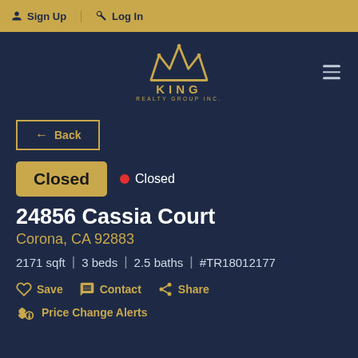Sign Up  Log In
[Figure (logo): King Realty Group Inc. crown logo in gold on dark navy background]
← Back
Closed  • Closed
24856 Cassia Court
Corona, CA 92883
2171 sqft  |  3 beds  |  2.5 baths  |  #TR18012177
Save  Contact  Share
Price Change Alerts